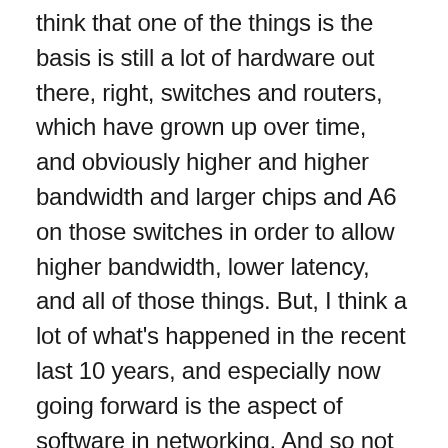think that one of the things is the basis is still a lot of hardware out there, right, switches and routers, which have grown up over time, and obviously higher and higher bandwidth and larger chips and A6 on those switches in order to allow higher bandwidth, lower latency, and all of those things. But, I think a lot of what's happened in the recent last 10 years, and especially now going forward is the aspect of software in networking. And so not just the operating systems that are running on those routers and switches, but more and more, there's software and programmes up around it.